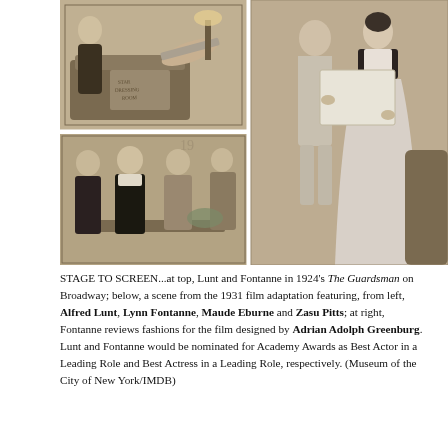[Figure (photo): A 2x2 grid of black and white vintage photographs. Top left: a scene from The Guardsman on Broadway (1924) showing two performers, one reclining. Top right: a taller portrait-format photo of a man in a light suit and a woman in a white dress reviewing papers/a board together. Bottom left: a scene from the 1931 film showing three actors around a table. Bottom right: continuation of the right photo showing a woman in a flowing white gown.]
STAGE TO SCREEN...at top, Lunt and Fontanne in 1924's The Guardsman on Broadway; below, a scene from the 1931 film adaptation featuring, from left, Alfred Lunt, Lynn Fontanne, Maude Eburne and Zasu Pitts; at right, Fontanne reviews fashions for the film designed by Adrian Adolph Greenburg. Lunt and Fontanne would be nominated for Academy Awards as Best Actor in a Leading Role and Best Actress in a Leading Role, respectively. (Museum of the City of New York/IMDB)